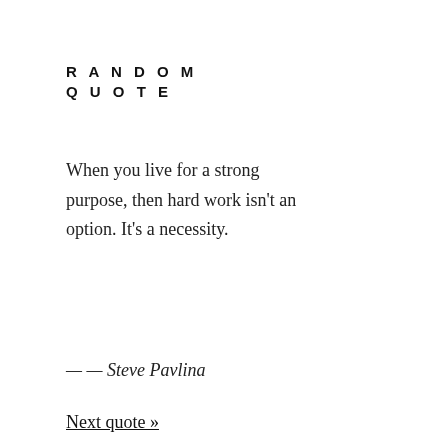RANDOM QUOTE
When you live for a strong purpose, then hard work isn't an option. It's a necessity.
— — Steve Pavlina
Next quote »